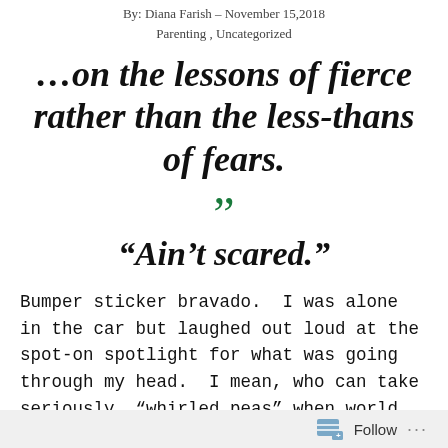By: Diana Farish – November 15, 2018
Parenting, Uncategorized
…on the lessons of fierce rather than the less-thans of fears.
“Ain’t scared.”
Bumper sticker bravado.  I was alone in the car but laughed out loud at the spot-on spotlight for what was going through my head.  I mean, who can take seriously “whirled peas” when world peace is at stake?  But then again, if it